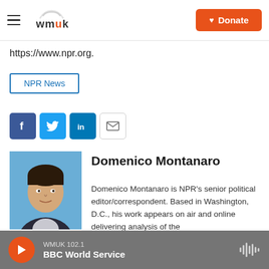WMUK | Donate
https://www.npr.org.
NPR News
[Figure (infographic): Social share buttons: Facebook, Twitter, LinkedIn, and Email icons in a row]
[Figure (photo): Headshot photo of Domenico Montanaro against a blue background]
Domenico Montanaro
Domenico Montanaro is NPR's senior political editor/correspondent. Based in Washington, D.C., his work appears on air and online delivering analysis of the
WMUK 102.1 BBC World Service